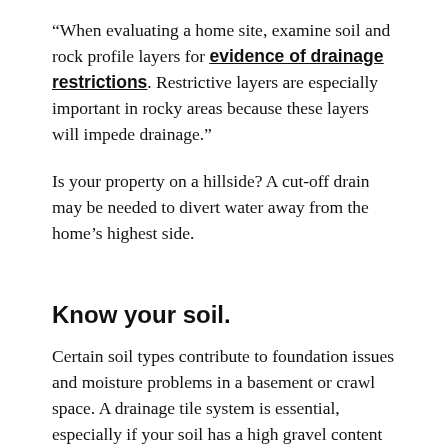“When evaluating a home site, examine soil and rock profile layers for evidence of drainage restrictions. Restrictive layers are especially important in rocky areas because these layers will impede drainage.”
Is your property on a hillside? A cut-off drain may be needed to divert water away from the home’s highest side.
Know your soil.
Certain soil types contribute to foundation issues and moisture problems in a basement or crawl space. A drainage tile system is essential, especially if your soil has a high gravel content or is sandy. If you have clay soil, known as expansive soil, it’s essential to address